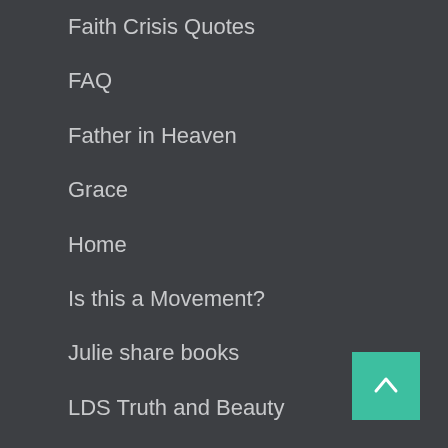Faith Crisis Quotes
FAQ
Father in Heaven
Grace
Home
Is this a Movement?
Julie share books
LDS Truth and Beauty
Missions
My Faith Journey